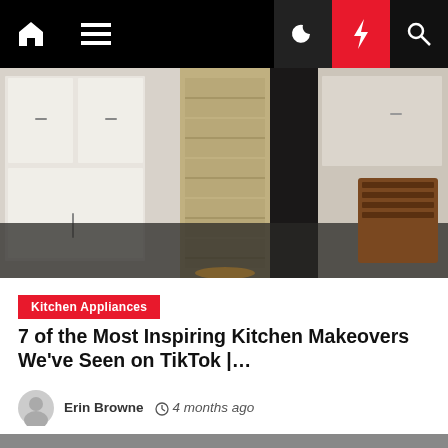Navigation bar with home, menu, moon, bolt, and search icons
[Figure (photo): Kitchen interior photo showing white cabinets, a textured stone/marble column or rug feature, dark flooring, and a wooden basket on the right side]
Kitchen Appliances
7 of the Most Inspiring Kitchen Makeovers We've Seen on TikTok |…
Erin Browne  4 months ago
[Figure (photo): Gray placeholder image, partially visible at bottom of page]